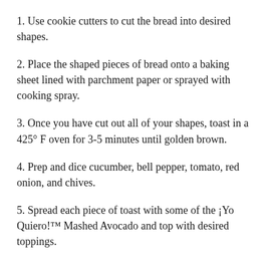1. Use cookie cutters to cut the bread into desired shapes.
2. Place the shaped pieces of bread onto a baking sheet lined with parchment paper or sprayed with cooking spray.
3. Once you have cut out all of your shapes, toast in a 425° F oven for 3-5 minutes until golden brown.
4. Prep and dice cucumber, bell pepper, tomato, red onion, and chives.
5. Spread each piece of toast with some of the ¡Yo Quiero!™ Mashed Avocado and top with desired toppings.